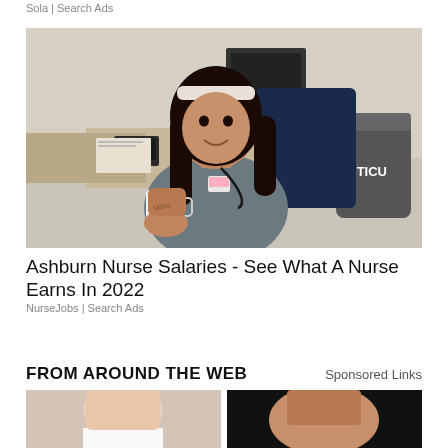Sola | Search Ads
[Figure (photo): A nurse in gray scrubs sitting at a hospital workstation, holding a coffee cup, smiling at the camera. A label reading STICU is visible in the background.]
Ashburn Nurse Salaries - See What A Nurse Earns In 2022
NurseJobs | Search Ads
FROM AROUND THE WEB
Sponsored Links
[Figure (photo): Cropped image of a person in a white top, partial body view.]
[Figure (photo): Cropped image of a person against a dark background, partial body view.]